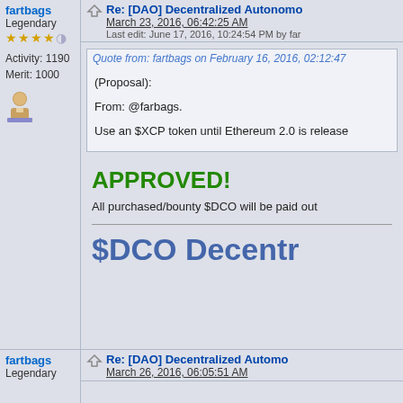fartbags
Legendary
Activity: 1190
Merit: 1000
Re: [DAO] Decentralized Autonomo...
March 23, 2016, 06:42:25 AM
Last edit: June 17, 2016, 10:24:54 PM by far...
Quote from: fartbags on February 16, 2016, 02:12:47...
(Proposal):

From: @farbags.

Use an $XCP token until Ethereum 2.0 is release...
APPROVED!
All purchased/bounty $DCO will be paid out...
$DCO Decentr...
fartbags
Legendary
Re: [DAO] Decentralized Automo...
March 26, 2016, 06:05:51 AM